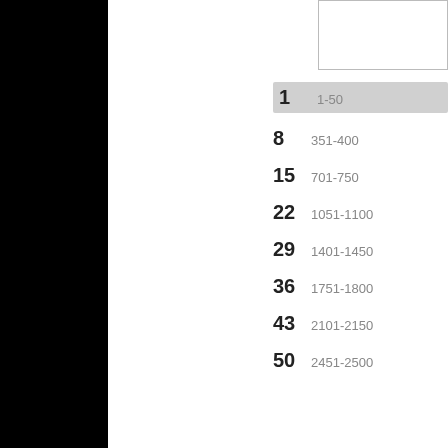1 1-50
8 351-400
15 701-750
22 1051-1100
29 1401-1450
36 1751-1800
43 2101-2150
50 2451-2500